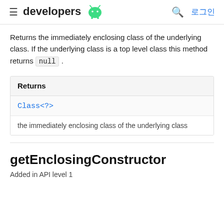developers [android logo] [search] 로그인
Returns the immediately enclosing class of the underlying class. If the underlying class is a top level class this method returns null.
| Returns |
| --- |
| Class<?> |
| the immediately enclosing class of the underlying class |
getEnclosingConstructor
Added in API level 1